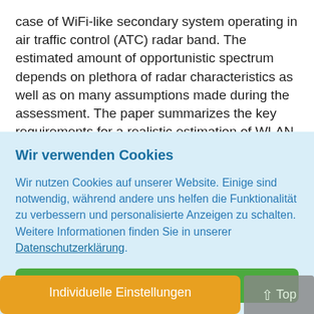case of WiFi-like secondary system operating in air traffic control (ATC) radar band. The estimated amount of opportunistic spectrum depends on plethora of radar characteristics as well as on many assumptions made during the assessment. The paper summarizes the key requirements for a realistic estimation of WLAN secondary spectrum availability through a case study using the
Wir verwenden Cookies
Wir nutzen Cookies auf unserer Website. Einige sind notwendig, während andere uns helfen die Funktionalität zu verbessern und personalisierte Anzeigen zu schalten. Weitere Informationen finden Sie in unserer Datenschutzerklärung.
Alle akzeptieren
Individuelle Einstellungen
Top